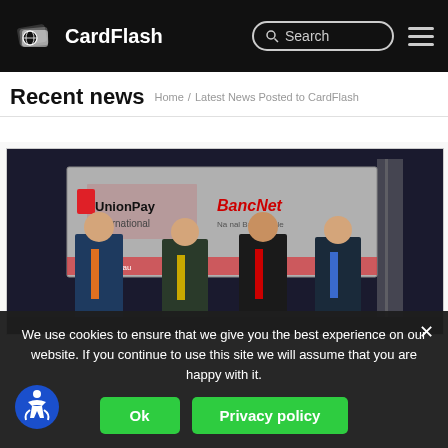CardFlash
Recent news
Home / Latest News Posted to CardFlash
[Figure (photo): Four men in business suits standing in front of a UnionPay International and BancNet banner backdrop]
We use cookies to ensure that we give you the best experience on our website. If you continue to use this site we will assume that you are happy with it.